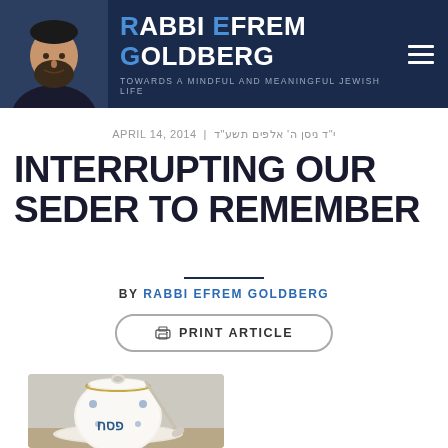RABBI EFREM GOLDBERG — TOWARDS A MINDFUL AND MEANINGFUL JEWISH LIFE
APRIL 14, 2014 | י"ד ניסן ה׳ אלפים תשע"ד
INTERRUPTING OUR SEDER TO REMEMBER
BY RABBI EFREM GOLDBERG
PRINT ARTICLE
[Figure (photo): A white decorative Passover porcelain sugar bowl with blue floral design, Hebrew text reading פסח (Pesach), with a matching spoon and saucer, photographed on a light background.]